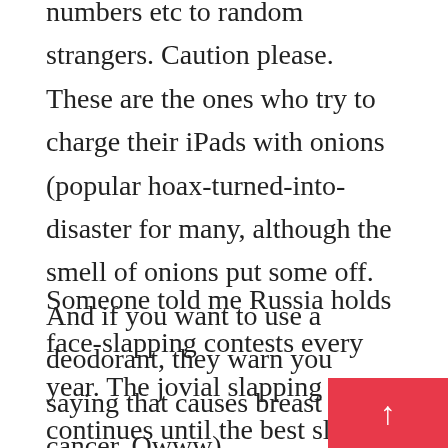numbers etc to random strangers. Caution please. These are the ones who try to charge their iPads with onions (popular hoax-turned-into-disaster for many, although the smell of onions put some off. And if you want to use a deodorant, they warn you saying that causes breast cancer. Owww)
Someone told me Russia holds face-slapping contests every year. The jovial slapping continues until the best slapper wins. Thought the person who told me the story hated Russians, but apparently the story is true. With bare hands and no head protection – the competitors take turns to slap one another – hard – around the face. To maintain balance after being slapped, com hold on to a sturdy stand that is placed bet